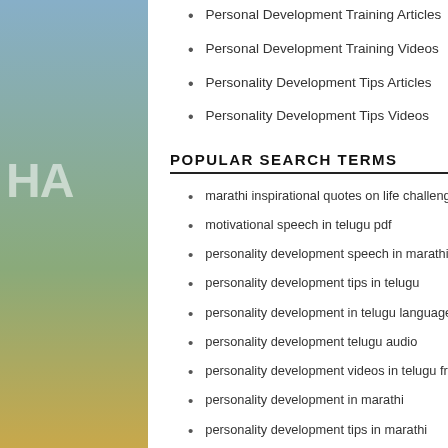Personal Development Training Articles
Personal Development Training Videos
Personality Development Tips Articles
Personality Development Tips Videos
POPULAR SEARCH TERMS
marathi inspirational quotes on life challenges
motivational speech in telugu pdf
personality development speech in marathi
personality development tips in telugu
personality development in telugu language
personality development telugu audio
personality development videos in telugu free download
personality development in marathi
personality development tips in marathi
personality development in kannada language
RECENT SEARCH TERMS